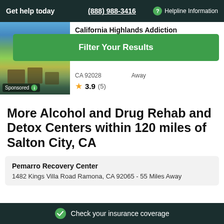Get help today  (888) 988-3416  Helpline Information
California Highlands Addiction
[Figure (photo): Exterior photo of a rehabilitation facility with pool seating area and tropical setting. Sponsored badge visible.]
Filter Your Results
CA 92028   Away
3.9 (5)
More Alcohol and Drug Rehab and Detox Centers within 120 miles of Salton City, CA
Pemarro Recovery Center
1482 Kings Villa Road Ramona, CA 92065 - 55 Miles Away
Check your insurance coverage